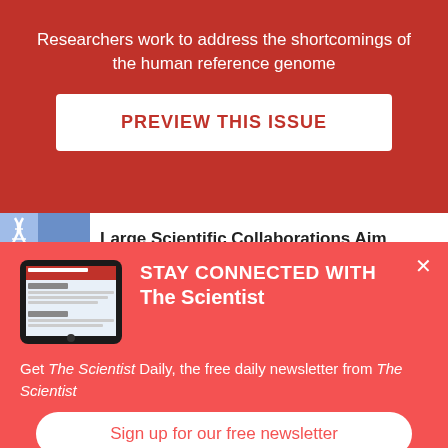Researchers work to address the shortcomings of the human reference genome
PREVIEW THIS ISSUE
Large Scientific Collaborations Aim
STAY CONNECTED WITH The Scientist
Get The Scientist Daily, the free daily newsletter from The Scientist
Sign up for our free newsletter